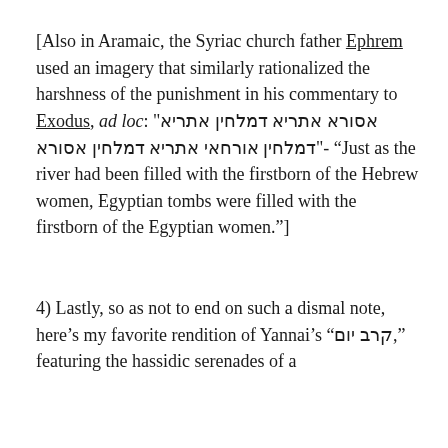[Also in Aramaic, the Syriac church father Ephrem used an imagery that similarly rationalized the harshness of the punishment in his commentary to Exodus, ad loc: "אסורא אתריא דמלחין אתריא דמלחין אורחאי אתריא דמלחין אסורא"- "Just as the river had been filled with the firstborn of the Hebrew women, Egyptian tombs were filled with the firstborn of the Egyptian women."]
4) Lastly, so as not to end on such a dismal note, here’s my favorite rendition of Yannai’s "קרב יום," featuring the hassidic serenades of a